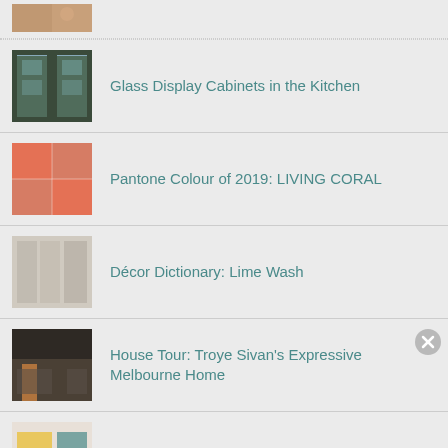[Figure (photo): Partial thumbnail image at top (cropped hands/puzzle)]
Glass Display Cabinets in the Kitchen
Pantone Colour of 2019: LIVING CORAL
Décor Dictionary: Lime Wash
House Tour: Troye Sivan's Expressive Melbourne Home
Décor Dictionary: Banquette
Advertisements
[Figure (screenshot): DuckDuckGo advertisement banner: Search, browse, and email with more privacy. All in One Free App]